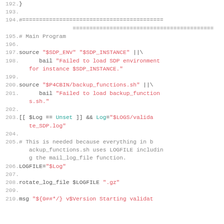Code listing lines 192-210, shell script showing source commands, bail statements, log file assignment, and rotate_log_file call.